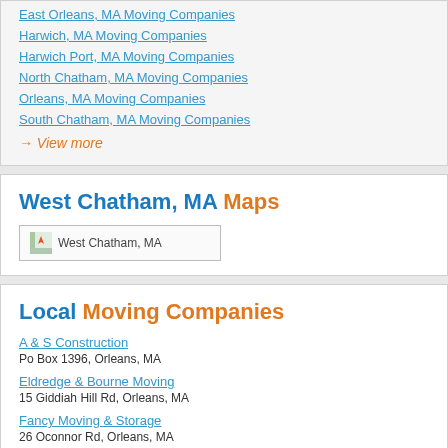East Orleans, MA Moving Companies
Harwich, MA Moving Companies
Harwich Port, MA Moving Companies
North Chatham, MA Moving Companies
Orleans, MA Moving Companies
South Chatham, MA Moving Companies
→ View more
West Chatham, MA Maps
[Figure (map): Map thumbnail of West Chatham, MA]
Local Moving Companies
A & S Construction
Po Box 1396, Orleans, MA
Eldredge & Bourne Moving
15 Giddiah Hill Rd, Orleans, MA
Fancy Moving & Storage
26 Oconnor Rd, Orleans, MA
Compass Moving & Storage
17 American Way, #3, South Dennis, MA